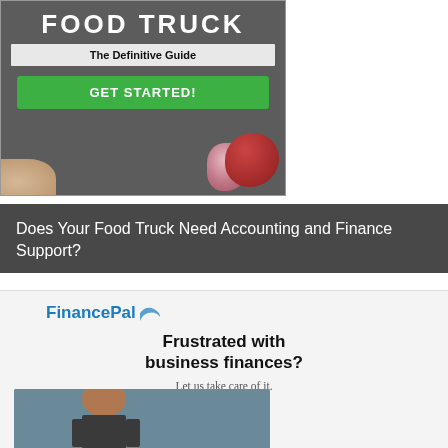[Figure (illustration): Food truck guide advertisement with dark background, 'FOOD TRUCK The Definitive Guide' title, green GET STARTED button, and vegetables (onions) in the corner]
Does Your Food Truck Need Accounting and Finance Support?
[Figure (illustration): FinancePal advertisement showing logo, tagline 'Frustrated with business finances? Let us take care of it.' and photo of a person]